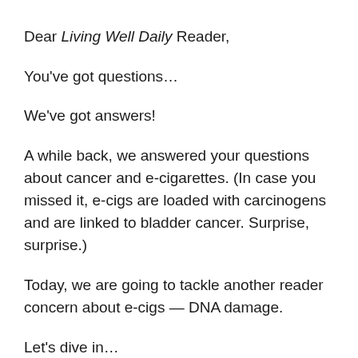Dear Living Well Daily Reader,
You've got questions...
We've got answers!
A while back, we answered your questions about cancer and e-cigarettes. (In case you missed it, e-cigs are loaded with carcinogens and are linked to bladder cancer. Surprise, surprise.)
Today, we are going to tackle another reader concern about e-cigs — DNA damage.
Let's dive in...